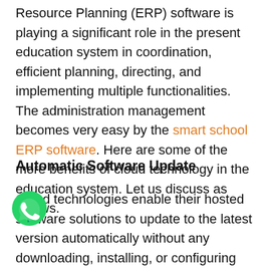Resource Planning (ERP) software is playing a significant role in the present education system in coordination, efficient planning, directing, and implementing multiple functionalities. The administration management becomes very easy by the smart school ERP software. Here are some of the more benefits of cloud technology in the education system. Let us discuss as follows.
Automatic Software Update
Cloud technologies enable their hosted software solutions to update to the latest version automatically without any downloading, installing, or configuring new versions. In the